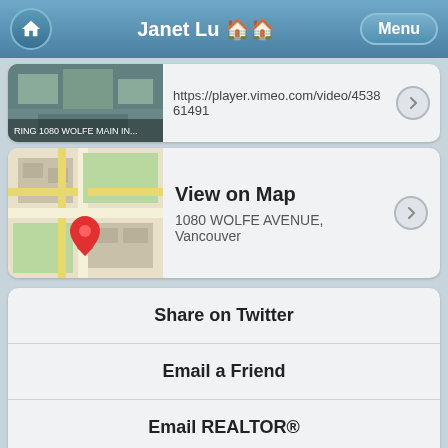Janet Lu 🏠 Menu
https://player.vimeo.com/video/453861491
[Figure (map): Aerial map thumbnail showing 1080 Wolfe Avenue with red location pin]
View on Map
1080 WOLFE AVENUE, Vancouver
Share on Twitter
Email a Friend
Email REALTOR®
Call REALTOR®
[Figure (map): Aerial map thumbnail for Map App showing red location pin]
Map App
View properties for sale near you on a map